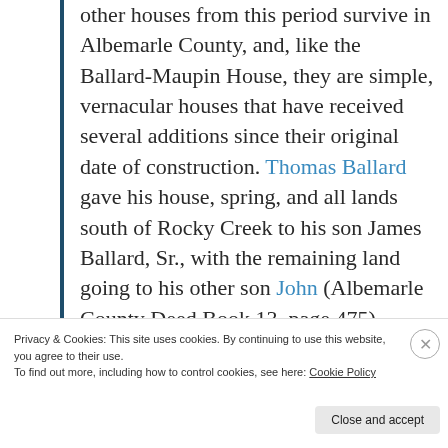other houses from this period survive in Albemarle County, and, like the Ballard-Maupin House, they are simple, vernacular houses that have received several additions since their original date of construction. Thomas Ballard gave his house, spring, and all lands south of Rocky Creek to his son James Ballard, Sr., with the remaining land going to his other son John (Albemarle County Deed Book 13, page 475). [Note:
Privacy & Cookies: This site uses cookies. By continuing to use this website, you agree to their use.
To find out more, including how to control cookies, see here: Cookie Policy
Close and accept